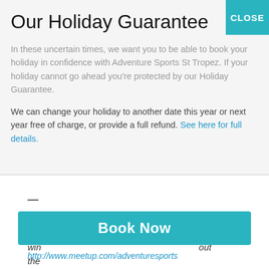Our Holiday Guarantee
In these uncertain times, we want you to be able to book your holiday in confidence with Adventure Sports St Tropez. If your holiday cannot go ahead you're protected by our Holiday Guarantee.
We can change your holiday to another date this year or next year free of charge, or provide a full refund. See here for full details.
—
Bristol South West Adventure Sports organise fortnightly trips to Liquid Leisure throughout the winter, without the ...
http://www.meetup.com/adventuresports